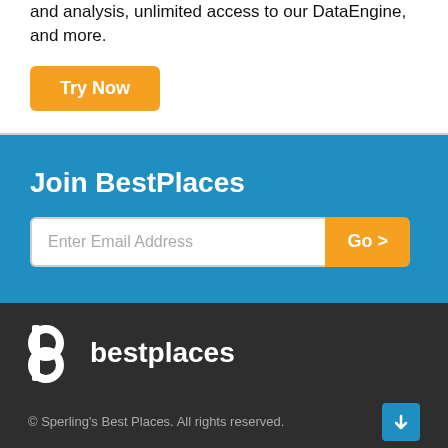and analysis, unlimited access to our DataEngine, and more.
Try Now
Join BestPlaces
Enter Email Address  Go >
[Figure (logo): BestPlaces logo — lowercase b icon followed by 'bestplaces' text in white on dark background]
© Sperling's Best Places. All rights reserved.
× Shop iPhone ^